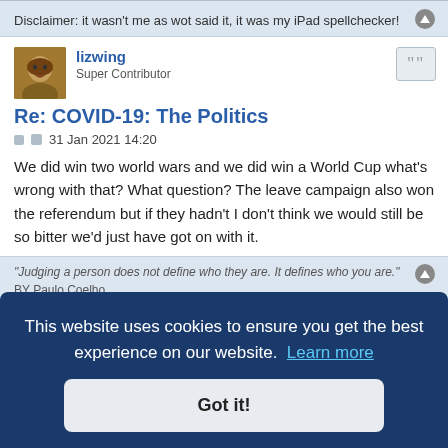Disclaimer: it wasn't me as wot said it, it was my iPad spellchecker!
lizwing
Super Contributor
Re: COVID-19: The Politics
31 Jan 2021 14:20
We did win two world wars and we did win a World Cup what's wrong with that? What question? The leave campaign also won the referendum but if they hadn't I don't think we would still be so bitter we'd just have got on with it.
"Judging a person does not define who they are. It defines who you are."
BY Paulo Coelho
any importance shows how superficial and childish are the views of many
This website uses cookies to ensure you get the best experience on our website.  Learn more
Got it!